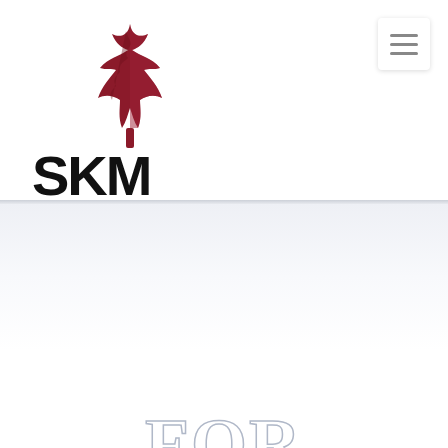[Figure (logo): SKM Forensic Investigations Inc. logo with a dark red maple leaf above the text 'SKM' in bold black and 'FORENSIC INVESTIGATIONS INC.' below]
[Figure (logo): Large outlined 'SKM' watermark text in light silver/grey outline style, partially cut off at the bottom with 'FOR' visible beneath]